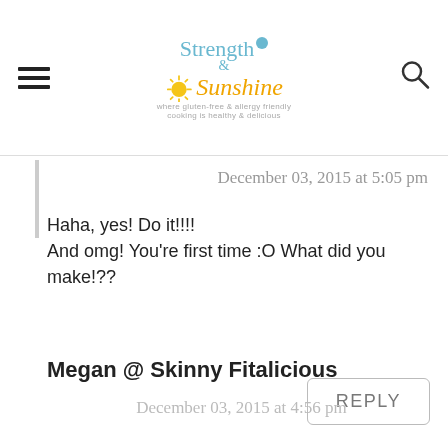Strength & Sunshine — blog header logo
December 03, 2015 at 5:05 pm
Haha, yes! Do it!!!!
And omg! You're first time :O What did you make!??
REPLY
Megan @ Skinny Fitalicious
December 03, 2015 at 4:56 pm